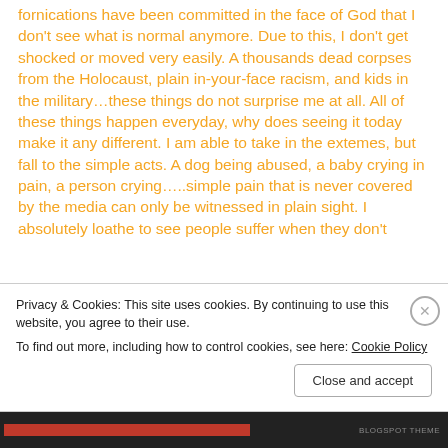fornications have been committed in the face of God that I don't see what is normal anymore. Due to this, I don't get shocked or moved very easily. A thousands dead corpses from the Holocaust, plain in-your-face racism, and kids in the military…these things do not surprise me at all. All of these things happen everyday, why does seeing it today make it any different. I am able to take in the extemes, but fall to the simple acts. A dog being abused, a baby crying in pain, a person crying…..simple pain that is never covered by the media can only be witnessed in plain sight. I absolutely loathe to see people suffer when they don't
Privacy & Cookies: This site uses cookies. By continuing to use this website, you agree to their use.
To find out more, including how to control cookies, see here: Cookie Policy